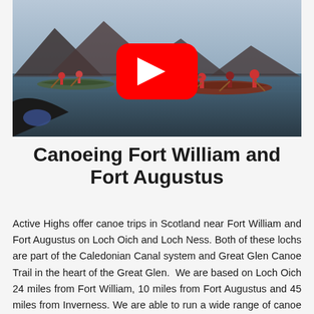[Figure (photo): A YouTube video thumbnail showing people canoeing on a calm loch (Loch Oich or Loch Ness) with mountains in the background. Multiple canoes with paddlers wearing red life jackets are visible. A large red YouTube play button icon is overlaid in the center of the image.]
Canoeing Fort William and Fort Augustus
Active Highs offer canoe trips in Scotland near Fort William and Fort Augustus on Loch Oich and Loch Ness. Both of these lochs are part of the Caledonian Canal system and Great Glen Canoe Trail in the heart of the Great Glen.  We are based on Loch Oich 24 miles from Fort William, 10 miles from Fort Augustus and 45 miles from Inverness. We are able to run a wide range of canoe trips and canoe lessons, and can also run BCU course and canoe coaching